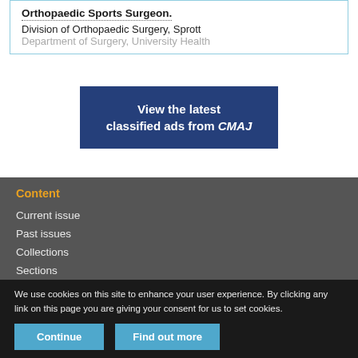Orthopaedic Sports Surgeon. Division of Orthopaedic Surgery, Sprott Department of Surgery, University Health...
[Figure (other): Blue banner advertisement: 'View the latest classified ads from CMAJ']
Content
Current issue
Past issues
Collections
Sections
We use cookies on this site to enhance your user experience. By clicking any link on this page you are giving your consent for us to set cookies.
Continue | Find out more